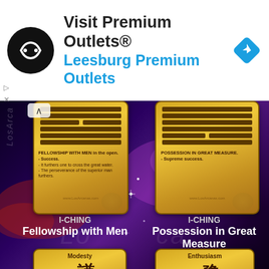[Figure (infographic): Advertisement banner: Visit Premium Outlets® Leesburg Premium Outlets with logo and navigation icon]
[Figure (photo): I-Ching hexagram cards on space background. Top row: Fellowship with Men (#13) and Possession in Great Measure (#14). Bottom row: Modesty (#15) and Enthusiasm (#16). Cards show hexagram lines, Chinese characters, and descriptive text on gold-colored tablets against a purple/red galaxy background. Watermark 'LosArcan' visible on left edge.]